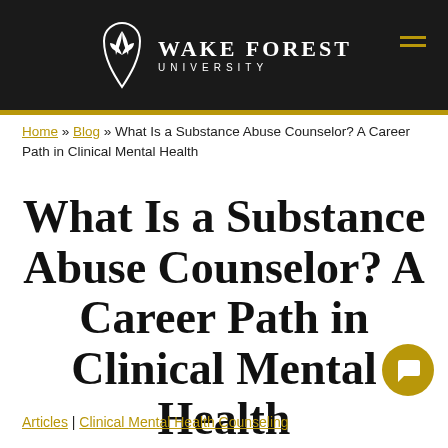[Figure (logo): Wake Forest University logo with stylized leaf/shield mark, white text on black background, gold accent hamburger menu top right]
Home » Blog » What Is a Substance Abuse Counselor? A Career Path in Clinical Mental Health
What Is a Substance Abuse Counselor? A Career Path in Clinical Mental Health
Articles | Clinical Mental Health Counseling